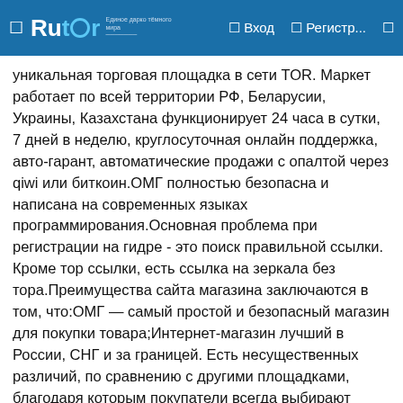Rutor — Вход — Регистр...
уникальная торговая площадка в сети TOR. Маркет работает по всей территории РФ, Беларусии, Украины, Казахстана функционирует 24 часа в сутки, 7 дней в неделю, круглосуточная онлайн поддержка, авто-гарант, автоматические продажи с опалтой через qiwi или биткоин.ОМГ полностью безопасна и написана на современных языках программирования.Основная проблема при регистрации на гидре - это поиск правильной ссылки. Кроме тор ссылки, есть ссылка на зеркала без тора.Преимущества сайта магазина заключаются в том, что:ОМГ — самый простой и безопасный магазин для покупки товара;Интернет-магазин лучший в России, СНГ и за границей. Есть несущественных различий, по сравнению с другими площадками, благодаря которым покупатели всегда выбирают только Гидру;Отсутствуют общеизвестные уязвимости в безопасности (по заявлению администрации omg центр);Вы можете завести собственный биткоин кошелек, через обменник биткоина (киви в биткоин);Сайт обладает лучшей системой анонимности. За все время обращений на базе...